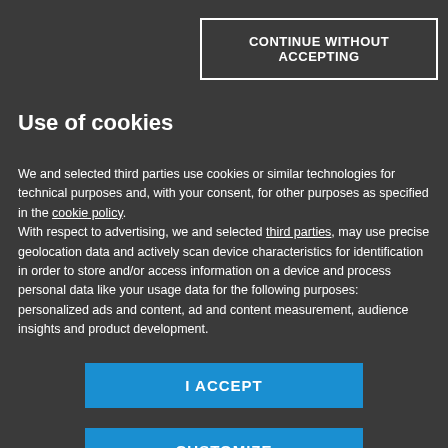CONTINUE WITHOUT ACCEPTING
Use of cookies
We and selected third parties use cookies or similar technologies for technical purposes and, with your consent, for other purposes as specified in the cookie policy.
With respect to advertising, we and selected third parties, may use precise geolocation data and actively scan device characteristics for identification in order to store and/or access information on a device and process personal data like your usage data for the following purposes: personalized ads and content, ad and content measurement, audience insights and product development.
I ACCEPT
CUSTOMIZE
[Figure (logo): Mondadori Media logo with red triangular icon and text MONDADORI MEDIA]
spaghetti and meatballs is ready 24 .
STORAGE